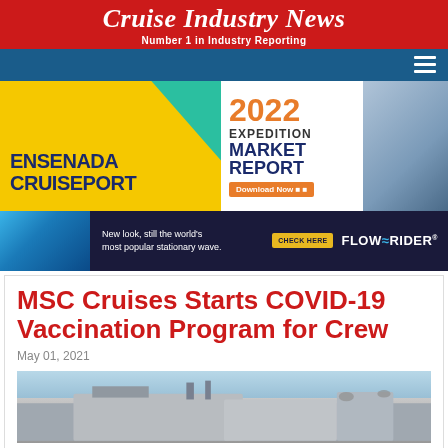Cruise Industry News
Number 1 in Industry Reporting
[Figure (advertisement): Ensenada Cruiseport advertisement with yellow background and teal geometric shape]
[Figure (advertisement): 2022 Expedition Market Report advertisement with Download Now button and ship image]
[Figure (advertisement): FlowRider advertisement: New look, still the world's most popular stationary wave. CHECK HERE]
MSC Cruises Starts COVID-19 Vaccination Program for Crew
May 01, 2021
[Figure (photo): Photo of MSC Cruises ship or facility building exterior against blue sky]